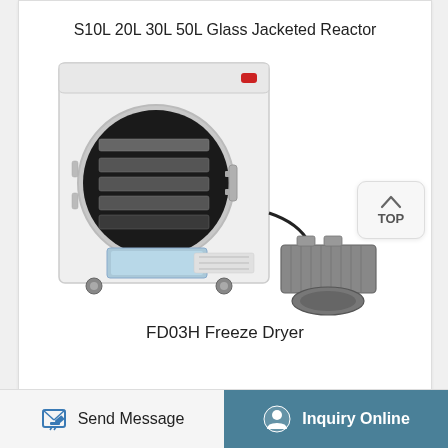[Figure (photo): Partial top strip showing top portion of another product (Glass Jacketed Reactor) cropped at the top edge]
S10L 20L 30L 50L Glass Jacketed Reactor
[Figure (photo): FD03H Freeze Dryer - a white rectangular laboratory freeze dryer unit with a circular front-loading door showing internal shelves, a touchscreen display at the bottom, mounted on wheels, with a vacuum pump motor unit attached to its right side. A small red power indicator is visible at top, and a silver handle is on the door.]
FD03H Freeze Dryer
Send Message   Inquiry Online